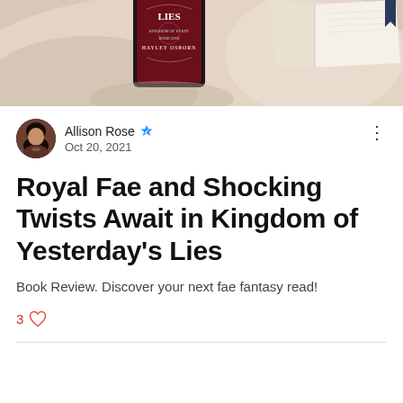[Figure (photo): Book cover photo showing a tablet/e-reader displaying 'Kingdom of Yesterday's Lies' by Hayley Osborn, placed on soft fabric background with an open book in the background.]
Allison Rose · Oct 20, 2021
Royal Fae and Shocking Twists Await in Kingdom of Yesterday's Lies
Book Review. Discover your next fae fantasy read!
3 ♡